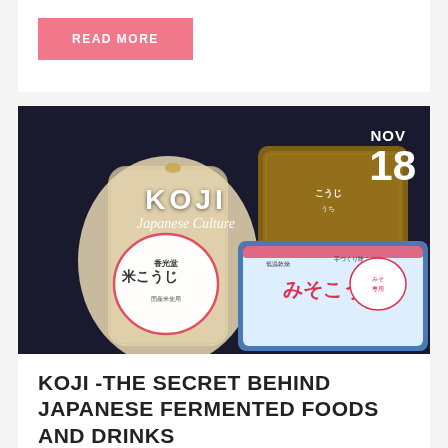READ MORE
[Figure (photo): Packages of Japanese koji (rice mold) products on a dark background, showing various koji bags with Japanese text including 米こうじ and みそこうじ. Overlaid text reads KOJI and Japanese Culture with a date of NOV 18 in the upper right corner.]
KOJI -THE SECRET BEHIND JAPANESE FERMENTED FOODS AND DRINKS